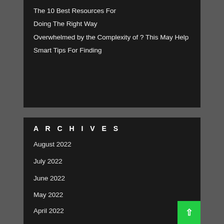The 10 Best Resources For
Doing The Right Way
Overwhelmed by the Complexity of ? This May Help
Smart Tips For Finding
ARCHIVES
August 2022
July 2022
June 2022
May 2022
April 2022